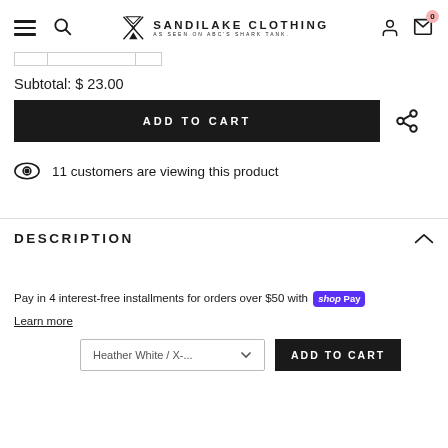SANDILAKE CLOTHING AS SEEN ON ABC'S SHARK TANK.
Subtotal: $ 23.00
ADD TO CART
11 customers are viewing this product
DESCRIPTION
Pay in 4 interest-free installments for orders over $50 with shop Pay
Learn more
Heather White / X-...  ADD TO CART